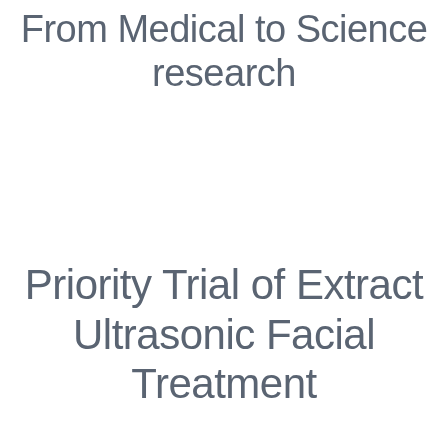From Medical to Science research
Priority Trial of Extract Ultrasonic Facial Treatment